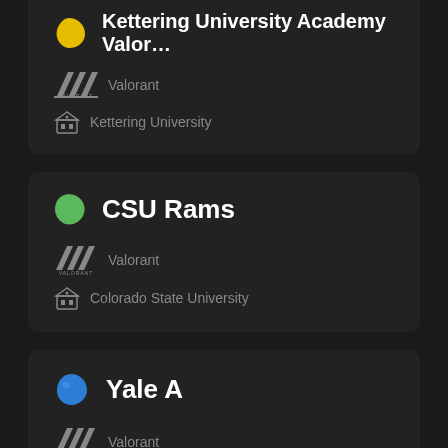Kettering University Academy Valor…
Valorant
Kettering University
CSU Rams
Valorant
Colorado State University
Yale A
Valorant
Yale University